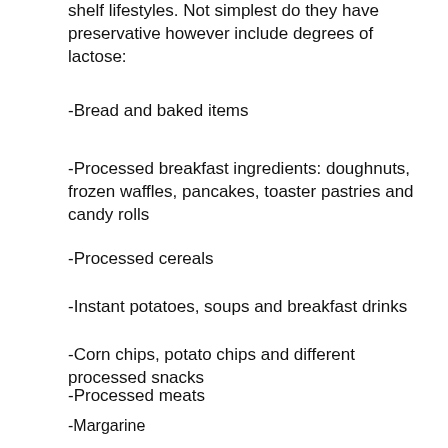shelf lifestyles. Not simplest do they have preservative however include degrees of lactose:
-Bread and baked items
-Processed breakfast ingredients: doughnuts, frozen waffles, pancakes, toaster pastries and candy rolls
-Processed cereals
-Instant potatoes, soups and breakfast drinks
-Corn chips, potato chips and different processed snacks
-Processed meats
-Margarine
-Salad dressing